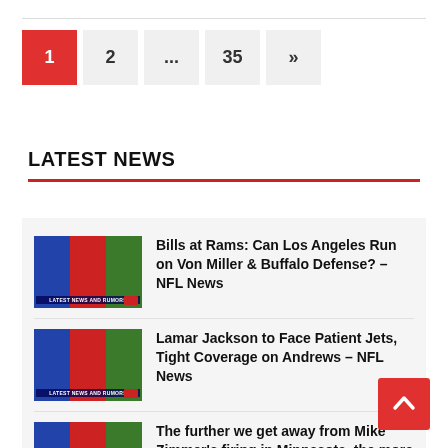Pagination: 1 (active), 2, ..., 35, »
LATEST NEWS
Bills at Rams: Can Los Angeles Run on Von Miller & Buffalo Defense? – NFL News
Lamar Jackson to Face Patient Jets, Tight Coverage on Andrews – NFL News
The further we get away from Mike Zimmer's firing in Minnesota, the more it sounds like a... – NFL News
Bucs at Cowboys 'Great Team': Can Dak Prescott Beat Tom Brady – and